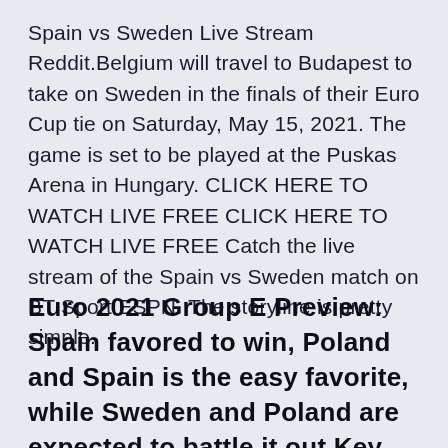Spain vs Sweden Live Stream Reddit.Belgium will travel to Budapest to take on Sweden in the finals of their Euro Cup tie on Saturday, May 15, 2021. The game is set to be played at the Puskas Arena in Hungary. CLICK HERE TO WATCH LIVE FREE CLICK HERE TO WATCH LIVE FREE Catch the live stream of the Spain vs Sweden match on BT Sport ESPN. The storyline is pretty simple.
Euro 2021 Group E Preview: Spain favored to win, Poland and Spain is the easy favorite, while Sweden and Poland are expected to battle it out Key players: Alvaro Morata (Juventus) A …